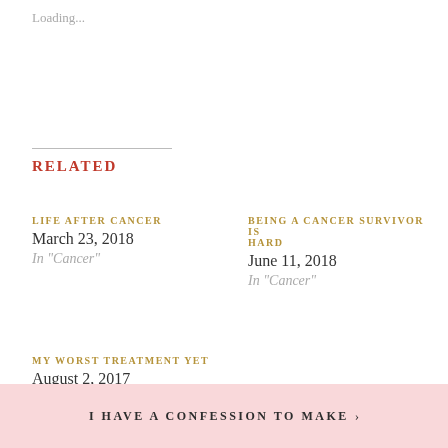Loading...
RELATED
LIFE AFTER CANCER
March 23, 2018
In "Cancer"
BEING A CANCER SURVIVOR IS HARD
June 11, 2018
In "Cancer"
MY WORST TREATMENT YET
August 2, 2017
In "Cancer"
I HAVE A CONFESSION TO MAKE ›